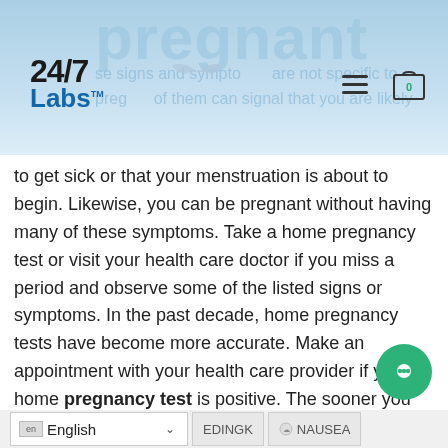pregnant
to get sick or that your menstruation is about to begin. Likewise, you can be pregnant without having many of these symptoms. Take a home pregnancy test or visit your health care doctor if you miss a period and observe some of the listed signs or symptoms. In the past decade, home pregnancy tests have become more accurate. Make an appointment with your health care provider if your home pregnancy test is positive. The sooner you have confirmation of your pregnancy, the sooner you can start prenatal care. Also read: Is STD testing and treatment covered in your health insurance?
en English | EDINGK | NAUSEA